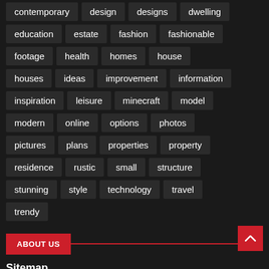contemporary
design
designs
dwelling
education
estate
fashion
fashionable
footage
health
homes
house
houses
ideas
improvement
information
inspiration
leisure
minecraft
model
modern
online
options
photos
pictures
plans
properties
property
residence
rustic
small
structure
stunning
style
technology
travel
trendy
ABOUT US
Sitemap